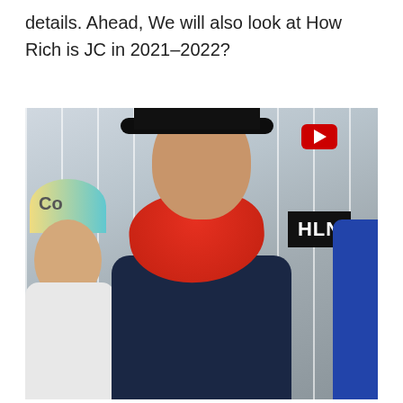details. Ahead, We will also look at How Rich is JC in 2021–2022?
[Figure (photo): A young man wearing a black backwards cap, red bandana around his neck, and a navy graphic t-shirt stands at what appears to be a media event with an HLN logo banner in the background. Another person with blue-tinted hair is visible behind him on the left.]